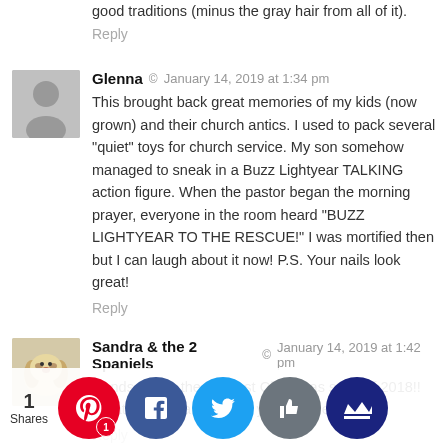good traditions (minus the gray hair from all of it).
Reply
Glenna  ©  January 14, 2019 at 1:34 pm
This brought back great memories of my kids (now grown) and their church antics. I used to pack several "quiet" toys for church service. My son somehow managed to sneak in a Buzz Lightyear TALKING action figure. When the pastor began the morning prayer, everyone in the room heard "BUZZ LIGHTYEAR TO THE RESCUE!" I was mortified then but I can laugh about it now! P.S. Your nails look great!
Reply
Sandra & the 2 Spaniels  ©  January 14, 2019 at 1:42 pm
Hands down, the funniest Christmas story of 2018!! What a lovely and full life you guys lead!
Reply
Connie Hubbard  ©  January 14, 2019 at 1:44 pm
Lo... r storie... e a tip fo... ing ging... nd H... uy the... milk c... over ... g and ... gra... crackers and cover with candy!! Ho... ally with...
[Figure (infographic): Social sharing buttons bar with Pinterest (red), Facebook (dark blue), Twitter (light blue), Like (gray), Crown (dark navy) circular buttons, and '1 Shares' count]